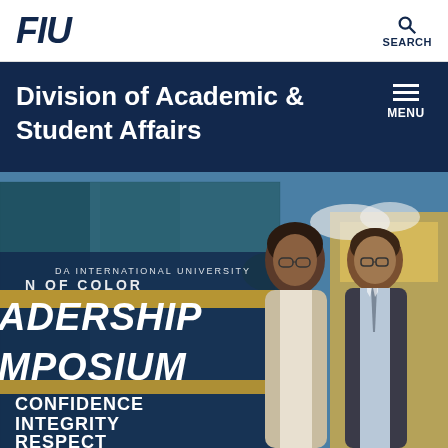FIU | SEARCH
Division of Academic & Student Affairs
[Figure (photo): Leadership symposium banner featuring two young men in formal attire against FIU campus building backdrop. Text reads: FLORIDA INTERNATIONAL UNIVERSITY MEN OF COLOR LEADERSHIP SYMPOSIUM - CONFIDENCE INTEGRITY RESPECT. FIU logo visible on building in background.]